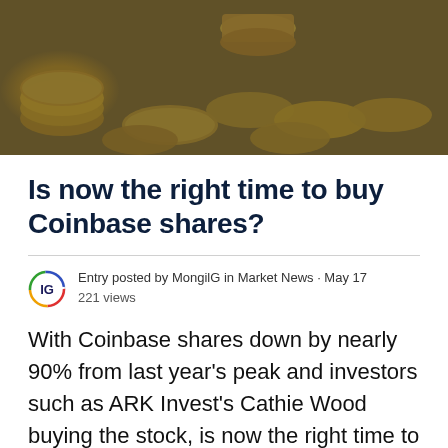[Figure (photo): Photograph of gold coins scattered on a dark navy blue surface, with a gold coin standing upright in the background near a phone or tablet screen]
Is now the right time to buy Coinbase shares?
Entry posted by MongilG in Market News · May 17
221 views
With Coinbase shares down by nearly 90% from last year's peak and investors such as ARK Invest's Cathie Wood buying the stock, is now the right time to invest?